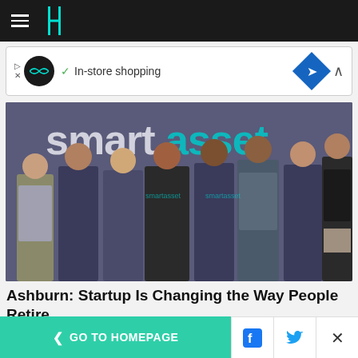HuffPost navigation bar with hamburger menu and logo
[Figure (screenshot): Advertisement banner showing circular logo, checkmark, In-store shopping text, blue diamond navigation icon, and collapse chevron]
[Figure (photo): Group photo of SmartAsset team members standing in front of a SmartAsset branded wall backdrop. Eight people wearing SmartAsset branded t-shirts.]
Ashburn: Startup Is Changing the Way People Retire
SmartAsset
[Figure (photo): Partially visible second article image, cropped at bottom of page]
< GO TO HOMEPAGE | Facebook share | Twitter share | Close